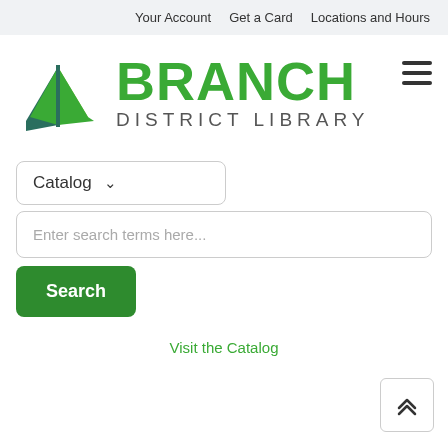Your Account   Get a Card   Locations and Hours
[Figure (logo): Branch District Library logo: open book icon in green and dark teal, with 'BRANCH' in large green bold text and 'DISTRICT LIBRARY' in smaller gray spaced letters]
Catalog ∨
Enter search terms here...
Search
Visit the Catalog